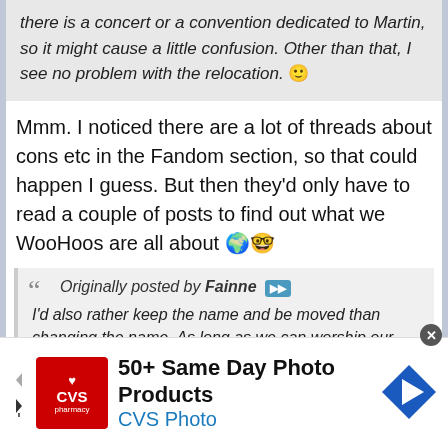there is a concert or a convention dedicated to Martin, so it might cause a little confusion. Other than that, I see no problem with the relocation. 🙂
Mmm. I noticed there are a lot of threads about cons etc in the Fandom section, so that could happen I guess. But then they'd only have to read a couple of posts to find out what we WooHoos are all about 🌍🤓
Originally posted by Fainne ▶▶ I'd also rather keep the name and be moved than changing the name. As long as we can worship our Martin I don't mind where i do it 🙂
That's right, we can worship Martin anywhere........
[Figure (photo): Outdoor photo showing grassy/natural landscape with golden tones, trees in background]
50+ Same Day Photo Products CVS Photo